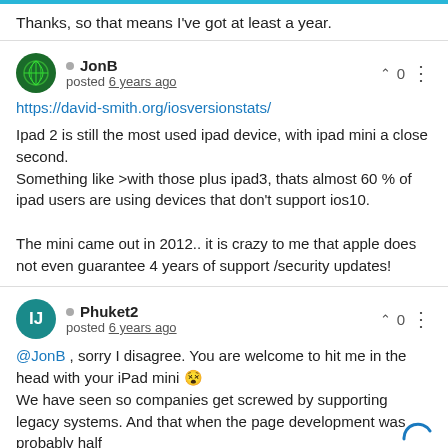Thanks, so that means I've got at least a year.
JonB
posted 6 years ago

https://david-smith.org/iosversionstats/

Ipad 2 is still the most used ipad device, with ipad mini a close second.
Something like >with those plus ipad3, thats almost 60 % of ipad users are using devices that don't support ios10.

The mini came out in 2012.. it is crazy to me that apple does not even guarantee 4 years of support /security updates!
Phuket2
posted 6 years ago

@JonB , sorry I disagree. You are welcome to hit me in the head with your iPad mini 😵
We have seen so companies get screwed by supporting legacy systems. And that when the page development was probably half